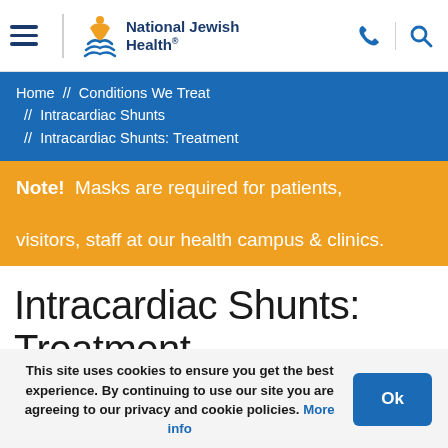National Jewish Health — navigation header with hamburger menu, logo, phone and search icons
Home // Conditions We Treat // Intracardiac Shunts // Intracardiac Shunts: Treatment
Note! Masks are required for patients, visitors, staff at our health campus & clinics.
Intracardiac Shunts: Treatment
This site uses cookies to ensure you get the best experience. By continuing to use our site you are agreeing to our privacy and cookie policies. More info